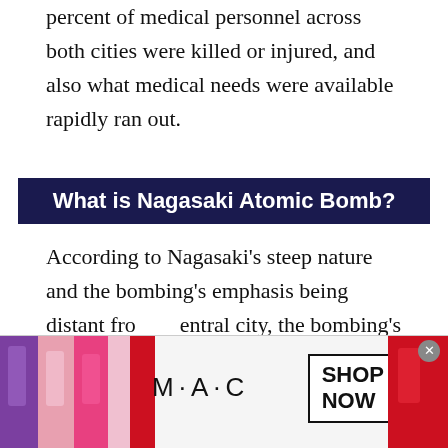percent of medical personnel across both cities were killed or injured, and also what medical needs were available rapidly ran out.
What is Nagasaki Atomic Bomb?
According to Nagasaki's steep nature and the bombing's emphasis being distant from central city, the bombing's extreme destruction was restricted to the U...
[Figure (other): MAC cosmetics advertisement banner showing lipsticks with 'SHOP NOW' button]